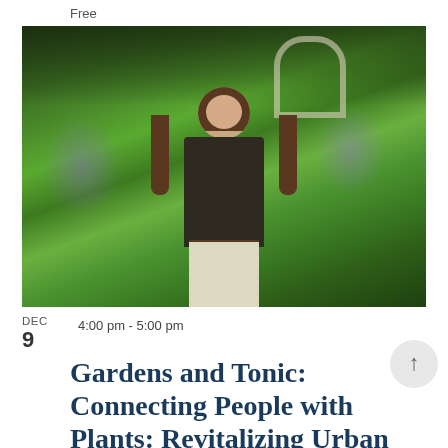Free
[Figure (photo): A young woman with long brown hair smiling, standing in a lush urban garden with green plants, purple flowers, and trees in the background.]
4:00 pm - 5:00 pm
DEC
9
Gardens and Tonic: Connecting People with Plants: Revitalizing Urban Gree...